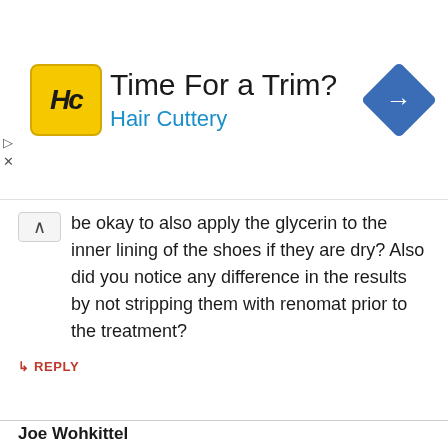[Figure (screenshot): Hair Cuttery advertisement banner with yellow logo, 'Time For a Trim?' title, 'Hair Cuttery' subtitle in blue, and a blue diamond navigation icon on the right.]
be okay to also apply the glycerin to the inner lining of the shoes if they are dry? Also did you notice any difference in the results by not stripping them with renomat prior to the treatment?
↳ REPLY
Joe Wohkittel
JULY 16, 2019 AT 10:32 PM
Hi David,
I replicated your gycerin process on a pair of 93606s. As in your case, the raised bumps were present afterwards. A few months have passed and they've subsided a bit. This seems to be the typical result.